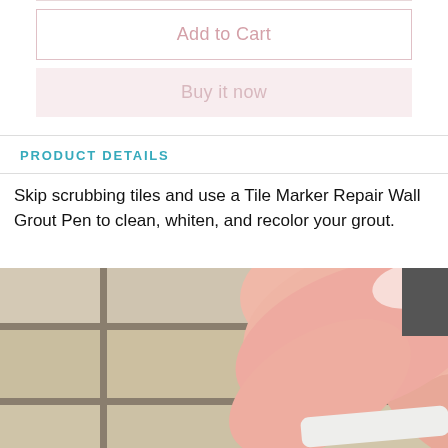Add to Cart
Buy it now
PRODUCT DETAILS
Skip scrubbing tiles and use a Tile Marker Repair Wall Grout Pen to clean, whiten, and recolor your grout.
[Figure (photo): Close-up photo of a hand using a grout pen/marker on tile grout lines. The hand holds a white pen applicator against beige ceramic tiles with visible grout lines.]